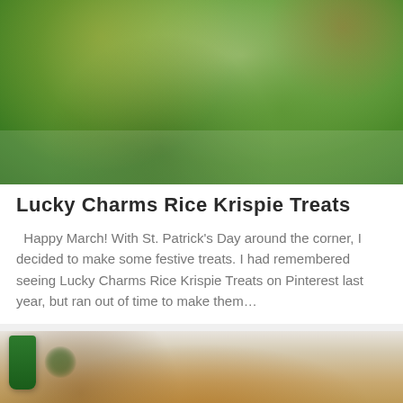[Figure (photo): Close-up photo of green Lucky Charms Rice Krispie Treats stacked on a white plate, with colorful cereal pieces visible and a Lucky Charms box in the background]
Lucky Charms Rice Krispie Treats
Happy March! With St. Patrick's Day around the corner, I decided to make some festive treats. I had remembered seeing Lucky Charms Rice Krispie Treats on Pinterest last year, but ran out of time to make them...
[Figure (photo): Photo of a pizza on a wooden cutting board with a green glass bottle in the background]